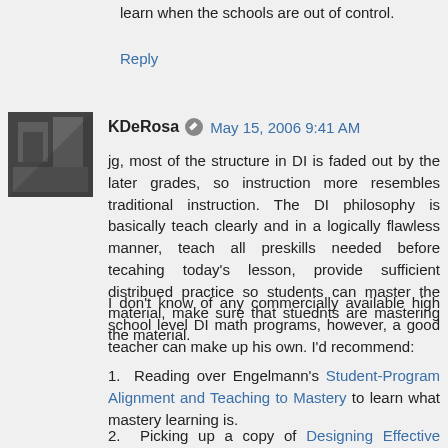learn when the schools are out of control.
Reply
KDeRosa  May 15, 2006 9:41 AM
jg, most of the structure in DI is faded out by the later grades, so instruction more resembles traditional instruction. The DI philosophy is basically teach clearly and in a logically flawless manner, teach all preskills needed before tecahing today's lesson, provide sufficient distribued practice so students can master the material, make sure that stuednts are mastering the material.
I don't know of any commercially available high school level DI math programs, however, a good teacher can make up his own. I'd recommend:
1. Reading over Engelmann's Student-Program Alignment and Teaching to Mastery to learn what mastery learning is.
2. Picking up a copy of Designing Effective Mathematics